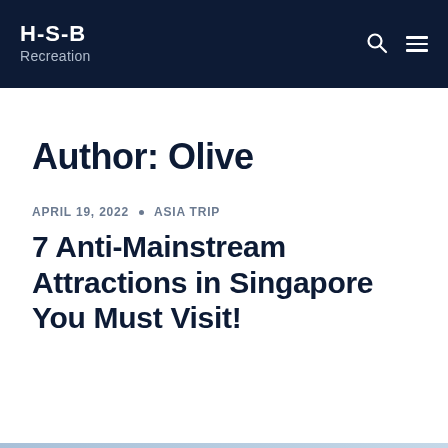H-S-B Recreation
Author: Olive
APRIL 19, 2022 · ASIA TRIP
7 Anti-Mainstream Attractions in Singapore You Must Visit!